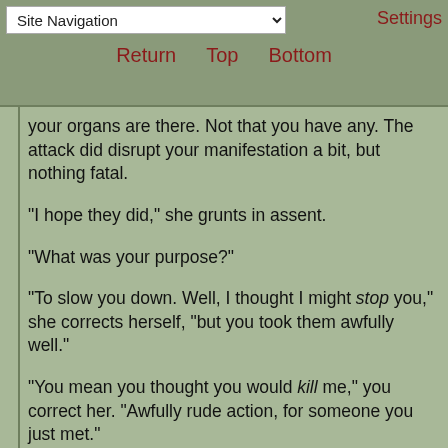Site Navigation | Settings | Return | Top | Bottom
your organs are there. Not that you have any. The attack did disrupt your manifestation a bit, but nothing fatal.
"I hope they did," she grunts in assent.
"What was your purpose?"
"To slow you down. Well, I thought I might stop you," she corrects herself, "but you took them awfully well."
"You mean you thought you would kill me," you correct her. "Awfully rude action, for someone you just met."
"You don't meet on a battlefield," she spits at you. "What are you, crazy?"
"It wasn't a battlefield," you say icily. "Battles are between cleanly defined sides? you don't know